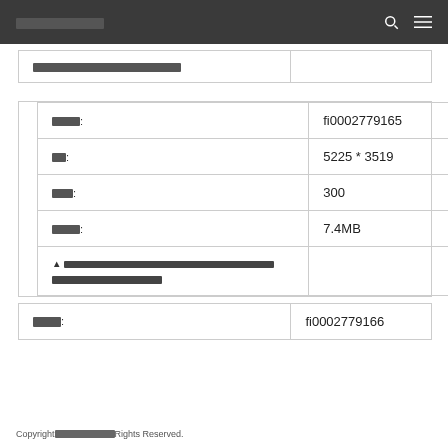░░░░░░░░░░
|  |  |
| --- | --- |
| ░░░░░░░░░░░░░░░░░░░ |  |
|  |  |
| --- | --- |
| ░░░░: | fi0002779165 |
| ░░: | 5225 * 3519 |
| ░░░: | 300 |
| ░░░░: | 7.4MB |
| ▲ ░░░░░░░░░░░░░░░░░░░░░░░░░░░░░░░░░░░░░░░░░░░░░░░░░░░░░░░░░░ |  |
|  |  |
| --- | --- |
| ░░░░: | fi0002779166 |
Copyright ░░░░░░░░░░ Rights Reserved.